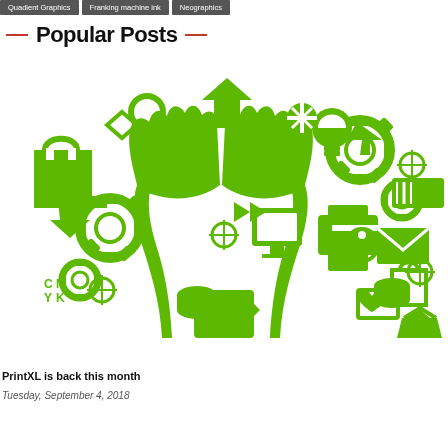Quadient Graphics | Franking machine ink | Neographics
Popular Posts
[Figure (illustration): Green illustration of two hands raised upward surrounded by various business/print industry icons including gears, shopping bags, printer, computer, CMYK symbols, light bulb, arrows, envelopes, and other graphic design elements forming a tree-like shape.]
PrintXL is back this month
Tuesday, September 4, 2018